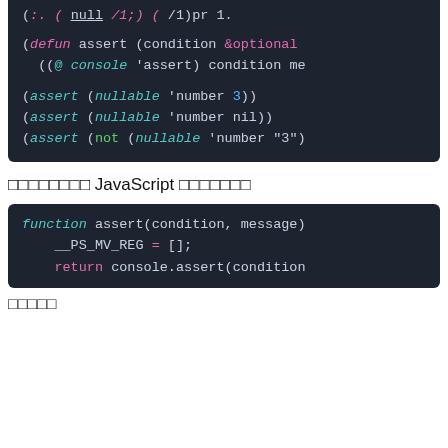[Figure (screenshot): Code block showing Lisp/ClojureScript code: (defun assert (condition &optional ...) ((@ console 'assert) condition me... (assert (nullable 'number 3)) (assert (nullable 'number nil)) (assert (not (nullable 'number "3")...]
xxxxxxxx JavaScript xxxxxxx
[Figure (screenshot): JavaScript code block: function assert(condition, message) { __PS_MV_REG = []; return console.assert(condition...]
xxxxx